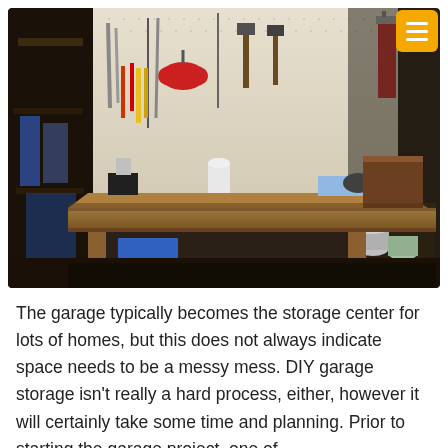[Figure (photo): A garage workshop with a wooden workbench in the foreground and a pegboard wall covered with various tools (hammers, pliers, screwdrivers, ear protection, wrenches) in the background. A fire extinguisher and storage shelves with paint cans and boxes are visible on the sides.]
The garage typically becomes the storage center for lots of homes, but this does not always indicate space needs to be a messy mess. DIY garage storage isn't really a hard process, either, however it will certainly take some time and planning. Prior to starting the garage project, one of...